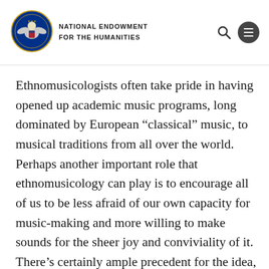NATIONAL ENDOWMENT FOR THE HUMANITIES
Ethnomusicologists often take pride in having opened up academic music programs, long dominated by European “classical” music, to musical traditions from all over the world. Perhaps another important role that ethnomusicology can play is to encourage all of us to be less afraid of our own capacity for music-making and more willing to make sounds for the sheer joy and conviviality of it. There’s certainly ample precedent for the idea, from Psalm 100 (“Make a joyful noise unto the Lord, all ye lands”)